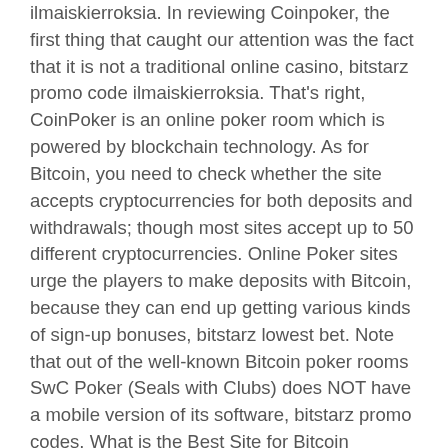ilmaiskierroksia. In reviewing Coinpoker, the first thing that caught our attention was the fact that it is not a traditional online casino, bitstarz promo code ilmaiskierroksia. That's right, CoinPoker is an online poker room which is powered by blockchain technology. As for Bitcoin, you need to check whether the site accepts cryptocurrencies for both deposits and withdrawals; though most sites accept up to 50 different cryptocurrencies. Online Poker sites urge the players to make deposits with Bitcoin, because they can end up getting various kinds of sign-up bonuses, bitstarz lowest bet. Note that out of the well-known Bitcoin poker rooms SwC Poker (Seals with Clubs) does NOT have a mobile version of its software, bitstarz promo codes. What is the Best Site for Bitcoin Freerolls? Bitcoin poker freerolls are out there to give away cash prizes and you can become a winner at no cost. This is a great way for